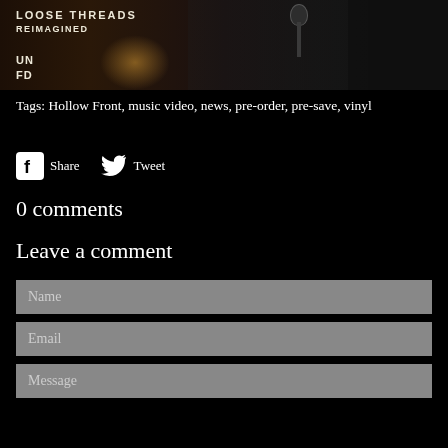[Figure (photo): Album cover or music promotional image showing a studio microphone in the foreground against a dark background with warm light, text overlay reading 'LOOSE THREADS REIMAGINED' and 'UN FD' logo in the bottom left]
Tags: Hollow Front, music video, news, pre-order, pre-save, vinyl
Share   Tweet
0 comments
Leave a comment
Name
Email
Message